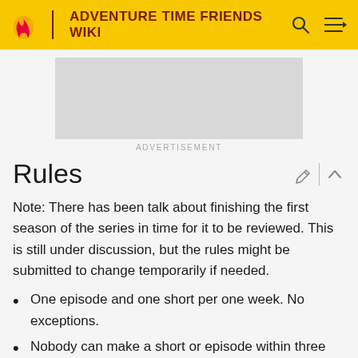ADVENTURE TIME FRIENDS WIKI
[Figure (other): Advertisement placeholder box]
ADVERTISEMENT
Rules
Note: There has been talk about finishing the first season of the series in time for it to be reviewed. This is still under discussion, but the rules might be submitted to change temporarily if needed.
One episode and one short per one week. No exceptions.
Nobody can make a short or episode within three weeks of making one themselves.
They...